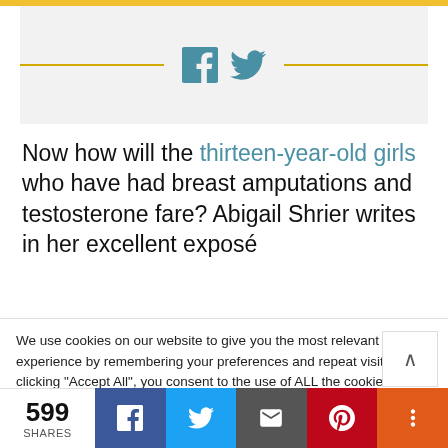[Figure (other): Social media share icons (Facebook f and Twitter bird) flanked by gold horizontal lines on a light gray background]
Now how will the thirteen-year-old girls who have had breast amputations and testosterone fare? Abigail Shrier writes in her excellent exposé
We use cookies on our website to give you the most relevant experience by remembering your preferences and repeat visits. By clicking "Accept All", you consent to the use of ALL the cookies. However, you may visit "Cookie Settings" to provide a controlled consent.
599 SHARES